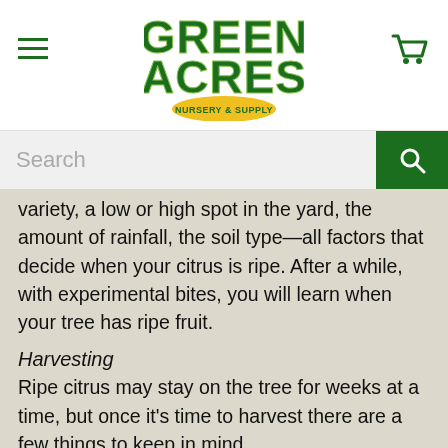Green Acres Nursery & Supply — navigation header with logo
variety, a low or high spot in the yard, the amount of rainfall, the soil type—all factors that decide when your citrus is ripe. After a while, with experimental bites, you will learn when your tree has ripe fruit.
Harvesting
Ripe citrus may stay on the tree for weeks at a time, but once it's time to harvest there are a few things to keep in mind.
Always use clippers to remove the fruit from the tree. Citrus pulled from the tree can tear